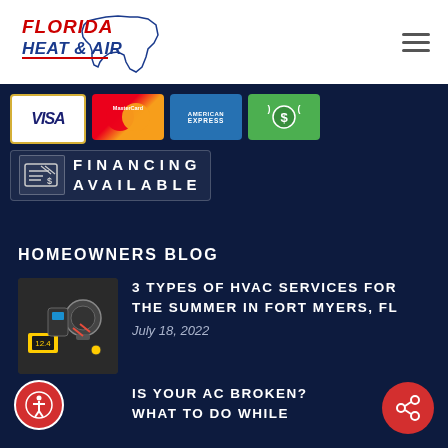[Figure (logo): Florida Heat & Air logo with Florida state outline]
[Figure (infographic): Payment methods banner: VISA, MasterCard, American Express, cash; Financing Available]
HOMEOWNERS BLOG
[Figure (photo): HVAC technician working on equipment with diagnostic tools]
3 TYPES OF HVAC SERVICES FOR THE SUMMER IN FORT MYERS, FL
July 18, 2022
IS YOUR AC BROKEN? WHAT TO DO WHILE